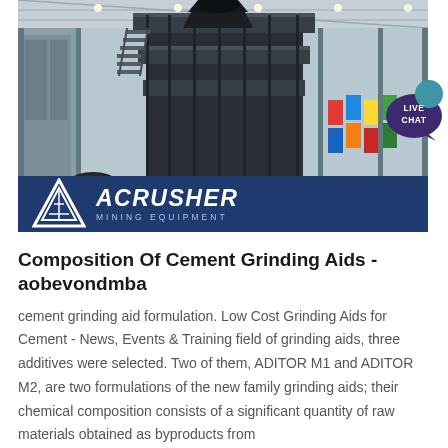[Figure (photo): Industrial mining/crushing equipment inside a large warehouse facility, with steel scaffolding and framework visible. Large multi-level processing machinery is shown in a spacious factory hall.]
Composition Of Cement Grinding Aids - aobevondmba
cement grinding aid formulation. Low Cost Grinding Aids for Cement - News, Events & Training field of grinding aids, three additives were selected. Two of them, ADITOR M1 and ADITOR M2, are two formulations of the new family grinding aids; their chemical composition consists of a significant quantity of raw materials obtained as byproducts from